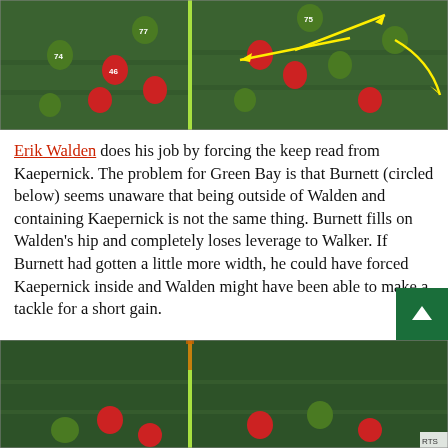[Figure (screenshot): Football game screenshot showing players on field, split-screen with yellow arrows indicating player movement. Red-jersied 49ers players vs green-jersied Packers. Yellow arrows drawn on right half showing keep-read direction.]
Erik Walden does his job by forcing the keep read from Kaepernick. The problem for Green Bay is that Burnett (circled below) seems unaware that being outside of Walden and containing Kaepernick is not the same thing. Burnett fills on Walden's hip and completely loses leverage to Walker. If Burnett had gotten a little more width, he could have forced Kaepernick inside and Walden might have been able to make a tackle for a short gain.
[Figure (screenshot): Football game screenshot showing players on field, split view with vertical yard line marker visible. Night game lighting.]